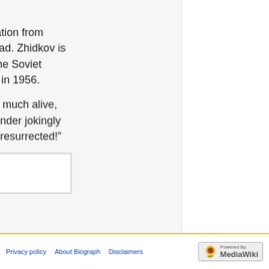LEARNS
Akron, Pa. (MCC) — A report issued earlier this year, based on information from another publication, erroneously reported that Jakob I. Zhidkov was dead. Zhidkov is president of the All-Union Council of Evangelical Christian Baptists in the Soviet Union. He was the leader of the Russian Baptist delegation to America in 1956.
On July 30, H. S. Bender sent word from Germany that Zhidkov is very much alive, and that he met and spoke with him personally in Berlin. When Bro. Bender jokingly remarked that he thought Zhidkov was dead, the latter quipped, “I was resurrected!”
Category:
Mennonite Weekly Review obituaries
Privacy policy   About Biograph   Disclaimers   Powered by MediaWiki